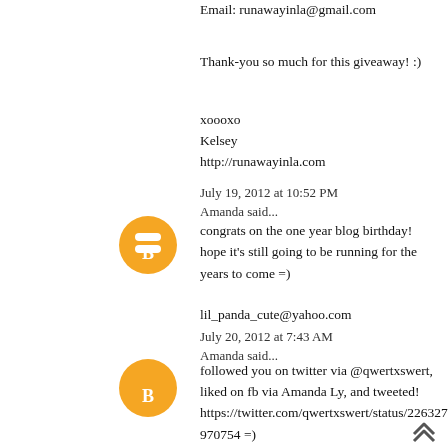Email: runawayinla@gmail.com
Thank-you so much for this giveaway! :)
xoooxo
Kelsey
http://runawayinla.com
July 19, 2012 at 10:52 PM
Amanda said...
congrats on the one year blog birthday! hope it's still going to be running for the years to come =)
lil_panda_cute@yahoo.com
July 20, 2012 at 7:43 AM
Amanda said...
followed you on twitter via @qwertxswert, liked on fb via Amanda Ly, and tweeted! https://twitter.com/qwertxswert/status/226327418560970754 =)
lil_panda_cute@yahoo.com
July 20, 2012 at 7:47 AM
Anonymous said...
GFC: Bela Lugosi
e-mail: marijabasta@hotmail.com